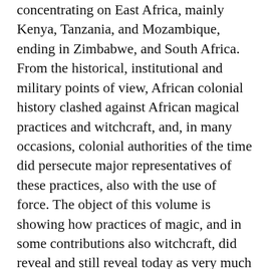concentrating on East Africa, mainly Kenya, Tanzania, and Mozambique, ending in Zimbabwe, and South Africa. From the historical, institutional and military points of view, African colonial history clashed against African magical practices and witchcraft, and, in many occasions, colonial authorities of the time did persecute major representatives of these practices, also with the use of force. The object of this volume is showing how practices of magic, and in some contributions also witchcraft, did reveal and still reveal today as very much useful instruments within political fights, sometimes with the object of violent oppositions and revolutions, sometimes with the object of status quo preservation processes. Another attractive feature of this collection of essays is the combination of young academics (who opened their